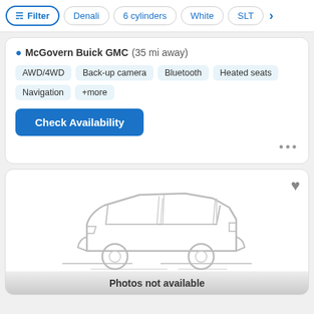Filter | Denali | 6 cylinders | White | SLT | >
McGovern Buick GMC (35 mi away)
AWD/4WD
Back-up camera
Bluetooth
Heated seats
Navigation
+more
Check Availability
[Figure (illustration): Placeholder SUV car illustration (line drawing, gray) with text 'Photos not available' at bottom]